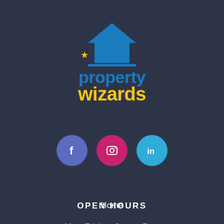[Figure (logo): Property Wizards logo with blue 'property' text and yellow 'wizards' text, with a blue house/graduation cap icon and yellow star]
[Figure (infographic): Three social media icons in circles: Facebook (blue circle with f), Instagram (pink circle with camera icon), LinkedIn (blue circle with 'in')]
OPEN HOURS
Mon-Friday: 9am – 5pm
Home